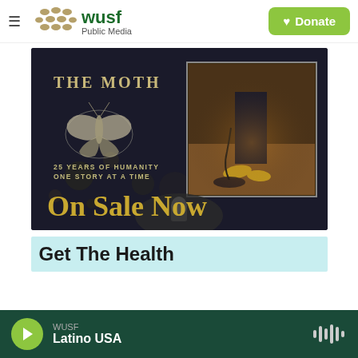≡  WUSF Public Media    ♥ Donate
[Figure (illustration): The Moth promotional banner: dark background with moth illustration, text '25 YEARS OF HUMANITY ONE STORY AT A TIME', photo of feet at a microphone stand, and 'On Sale Now' in gold text]
[Figure (illustration): Get The Health promotional banner with light blue background]
WUSF  Latino USA  (play button, audio waveform icon)